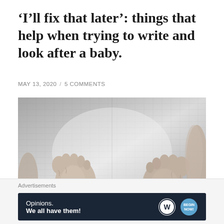‘I’ll fix that later’: things that help when trying to write and look after a baby.
MAY 13, 2020  /  5 COMMENTS
[Figure (photo): Black and white photograph of two baby feet resting on a textured fabric/blanket surface.]
Advertisements
[Figure (other): Advertisement banner with dark navy background reading 'Opinions. We all have them!' with WordPress and another logo on the right.]